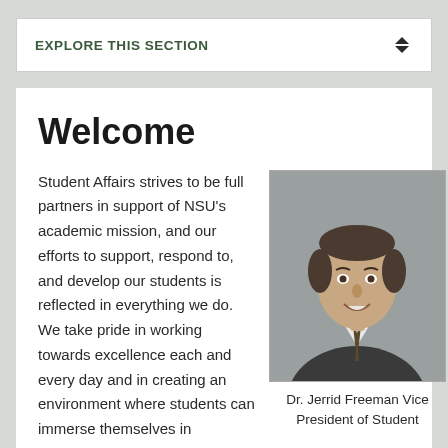EXPLORE THIS SECTION
Welcome
Student Affairs strives to be full partners in support of NSU's academic mission, and our efforts to support, respond to, and develop our students is reflected in everything we do. We take pride in working towards excellence each and every day and in creating an environment where students can immerse themselves in
[Figure (photo): Professional headshot of Dr. Jerrid Freeman, a middle-aged man in a dark suit with a patterned tie, smiling against a gray background.]
Dr. Jerrid Freeman Vice President of Student